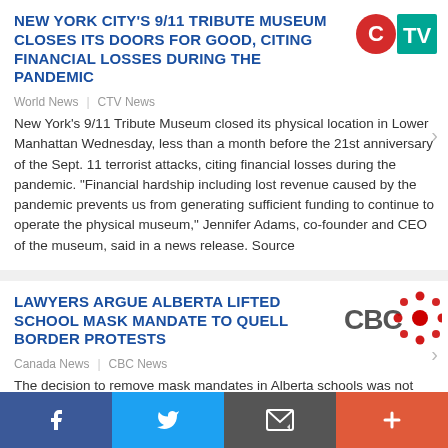NEW YORK CITY'S 9/11 TRIBUTE MUSEUM CLOSES ITS DOORS FOR GOOD, CITING FINANCIAL LOSSES DURING THE PANDEMIC
World News | CTV News
New York's 9/11 Tribute Museum closed its physical location in Lower Manhattan Wednesday, less than a month before the 21st anniversary of the Sept. 11 terrorist attacks, citing financial losses during the pandemic. "Financial hardship including lost revenue caused by the pandemic prevents us from generating sufficient funding to continue to operate the physical museum," Jennifer Adams, co-founder and CEO of the museum, said in a news release. Source
[Figure (logo): CTV News logo with red C circle and teal TV letters]
LAWYERS ARGUE ALBERTA LIFTED SCHOOL MASK MANDATE TO QUELL BORDER PROTESTS
Canada News | CBC News
The decision to remove mask mandates in Alberta schools was not consistent with public health advice and instead was driven by
[Figure (logo): CBC News logo with CBC text and red dotted circle emblem]
Facebook | Twitter | Email | More